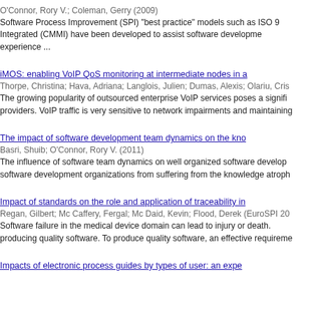O'Connor, Rory V.; Coleman, Gerry (2009)
Software Process Improvement (SPI) "best practice" models such as ISO 9... Integrated (CMMI) have been developed to assist software developme... experience ...
iMOS: enabling VoIP QoS monitoring at intermediate nodes in a...
Thorpe, Christina; Hava, Adriana; Langlois, Julien; Dumas, Alexis; Olariu, Cris...
The growing popularity of outsourced enterprise VoIP services poses a signifi... providers. VoIP traffic is very sensitive to network impairments and maintaining...
The impact of software development team dynamics on the kno...
Basri, Shuib; O'Connor, Rory V. (2011)
The influence of software team dynamics on well organized software develop... software development organizations from suffering from the knowledge atroph...
Impact of standards on the role and application of traceability in...
Regan, Gilbert; Mc Caffery, Fergal; Mc Daid, Kevin; Flood, Derek (EuroSPI 20...
Software failure in the medical device domain can lead to injury or death. producing quality software. To produce quality software, an effective requireme...
Impacts of electronic process guides by types of user: an expe...